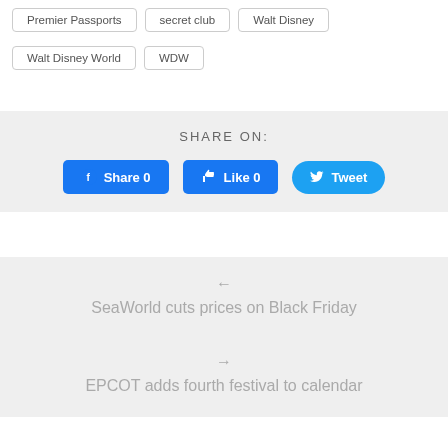Premier Passports
secret club
Walt Disney
Walt Disney World
WDW
SHARE ON:
[Figure (infographic): Social share buttons: Facebook Share 0, Like 0, Twitter Tweet]
← SeaWorld cuts prices on Black Friday
→ EPCOT adds fourth festival to calendar